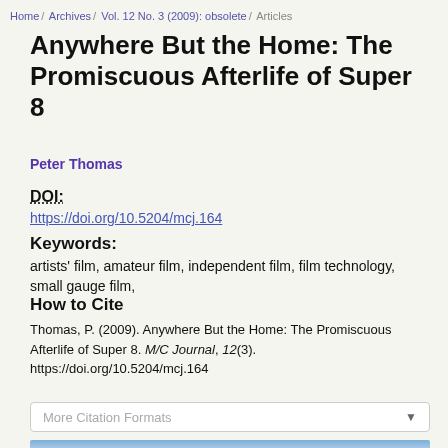Home / Archives / Vol. 12 No. 3 (2009): obsolete / Articles
Anywhere But the Home: The Promiscuous Afterlife of Super 8
Peter Thomas
DOI:
https://doi.org/10.5204/mcj.164
Keywords:
artists' film, amateur film, independent film, film technology, small gauge film,
How to Cite
Thomas, P. (2009). Anywhere But the Home: The Promiscuous Afterlife of Super 8. M/C Journal, 12(3). https://doi.org/10.5204/mcj.164
More Citation Formats
[Figure (photo): Blue sky photograph strip at the bottom of the page]